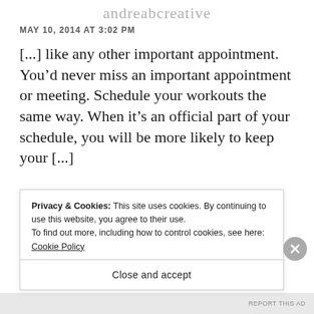andreabcreative
MAY 10, 2014 AT 3:02 PM
[...] like any other important appointment. You'd never miss an important appointment or meeting. Schedule your workouts the same way. When it's an official part of your schedule, you will be more likely to keep your [...]
Privacy & Cookies: This site uses cookies. By continuing to use this website, you agree to their use.
To find out more, including how to control cookies, see here: Cookie Policy
Close and accept